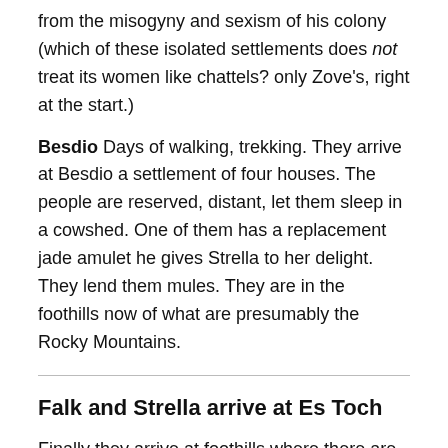from the misogyny and sexism of his colony (which of these isolated settlements does not treat its women like chattels? only Zove's, right at the start.)
Besdio Days of walking, trekking. They arrive at Besdio a settlement of four houses. The people are reserved, distant, let them sleep in a cowshed. One of them has a replacement jade amulet he gives Strella to her delight. They lend them mules. They are in the foothills now of what are presumably the Rocky Mountains.
Falk and Strella arrive at Es Toch
Finally they arrive at foothills where there are more than scattered settlements, where there are rows of cabins, huts, paths which turns into tracks between dwellings,